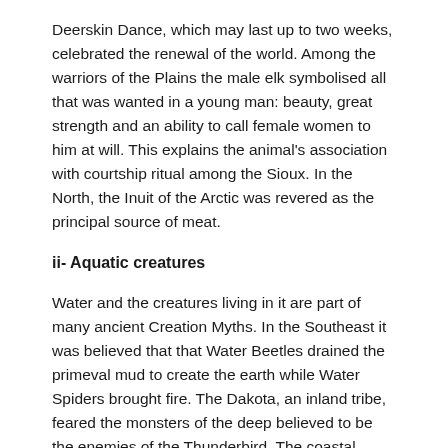Deerskin Dance, which may last up to two weeks, celebrated the renewal of the world. Among the warriors of the Plains the male elk symbolised all that was wanted in a young man: beauty, great strength and an ability to call female women to him at will. This explains the animal's association with courtship ritual among the Sioux. In the North, the Inuit of the Arctic was revered as the principal source of meat.
ii- Aquatic creatures
Water and the creatures living in it are part of many ancient Creation Myths. In the Southeast it was believed that that Water Beetles drained the primeval mud to create the earth while Water Spiders brought fire. The Dakota, an inland tribe, feared the monsters of the deep believed to be the enemies of the Thunderbird. The coastal people of the Northwest had the most complex and elaborate symbolism based on marine life.